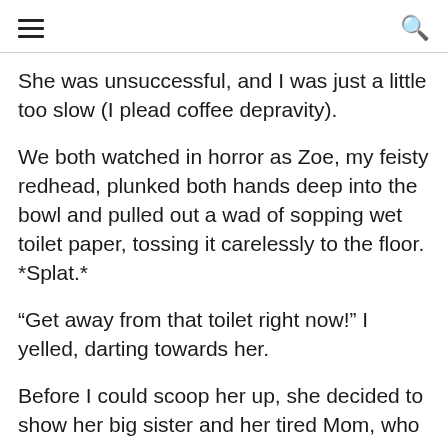[hamburger menu] [search icon]
She was unsuccessful, and I was just a little too slow (I plead coffee depravity).
We both watched in horror as Zoe, my feisty redhead, plunked both hands deep into the bowl and pulled out a wad of sopping wet toilet paper, tossing it carelessly to the floor. *Splat.*
“Get away from that toilet right now!” I yelled, darting towards her.
Before I could scoop her up, she decided to show her big sister and her tired Mom, who was